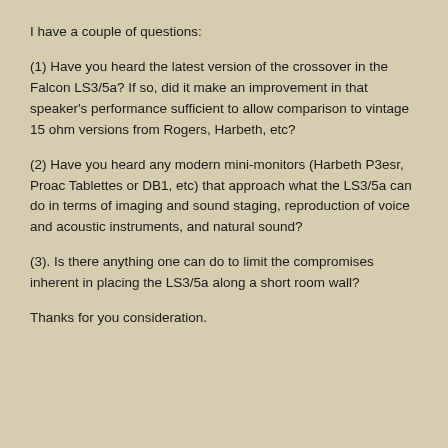I have a couple of questions:
(1) Have you heard the latest version of the crossover in the Falcon LS3/5a? If so, did it make an improvement in that speaker's performance sufficient to allow comparison to vintage 15 ohm versions from Rogers, Harbeth, etc?
(2) Have you heard any modern mini-monitors (Harbeth P3esr, Proac Tablettes or DB1, etc) that approach what the LS3/5a can do in terms of imaging and sound staging, reproduction of voice and acoustic instruments, and natural sound?
(3). Is there anything one can do to limit the compromises inherent in placing the LS3/5a along a short room wall?
Thanks for you consideration.